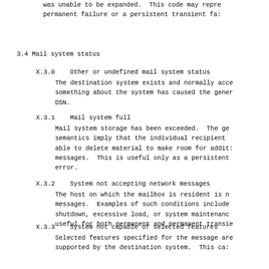The mailbox is a mailing list address and the list was unable to be expanded.  This code may represent a permanent failure or a persistent transient failure.
3.4 Mail system status
X.3.0    Other or undefined mail system status
The destination system exists and normally accepts mail, something about the system has caused the generation of a DSN.
X.3.1    Mail system full
Mail system storage has been exceeded.  The general semantics imply that the individual recipient may not be able to delete material to make room for additional messages.  This is useful only as a persistent transient error.
X.3.2    System not accepting network messages
The host on which the mailbox is resident is not accepting messages.  Examples of such conditions include an imminent shutdown, excessive load, or system maintenance.  This is useful for both permanent and permanent transient errors.
X.3.3    System not capable of selected features
Selected features specified for the message are not supported by the destination system.  This can